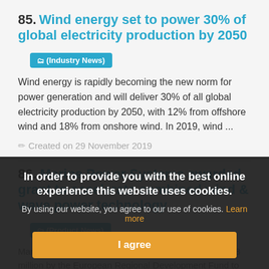85. Wind energy set to power 30% of global electricity production by 2050
(Industry News)
Wind energy is rapidly becoming the new norm for power generation and will deliver 30% of all global electricity production by 2050, with 12% from offshore wind and 18% from onshore wind. In 2019, wind ...
Created on 29 November 2019
86. Marine Power Systems awarded grant to accelerate combined wind & wave power technology
(Product News)
Marine Power Systems (MPS) have been awarded £1.3 million by the European Regional Development Fund to accelerate the The EDRF funding wi...
Created on 26 November 2019
In order to provide you with the best online experience this website uses cookies. By using our website, you agree to our use of cookies. Learn more
I agree